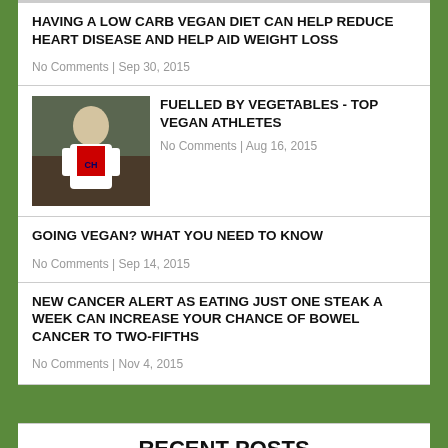HAVING A LOW CARB VEGAN DIET CAN HELP REDUCE HEART DISEASE AND HELP AID WEIGHT LOSS
No Comments | Sep 30, 2015
[Figure (photo): Photo of a hockey player wearing a Montreal Canadiens jersey]
FUELLED BY VEGETABLES - TOP VEGAN ATHLETES
No Comments | Aug 16, 2015
GOING VEGAN? WHAT YOU NEED TO KNOW
No Comments | Sep 14, 2015
NEW CANCER ALERT AS EATING JUST ONE STEAK A WEEK CAN INCREASE YOUR CHANCE OF BOWEL CANCER TO TWO-FIFTHS
No Comments | Nov 4, 2015
RECENT POSTS
PETA Helping Fight For The Rights Of